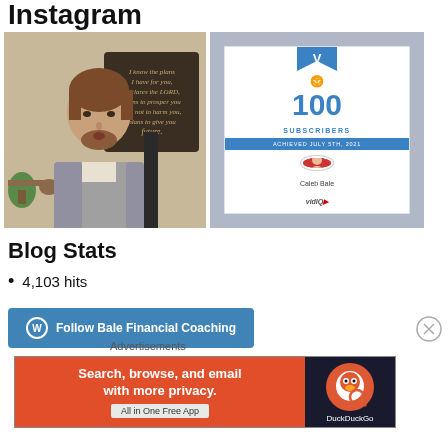Instagram
[Figure (photo): Young man with brown hair and beard wearing a grey fleece vest, with a wooden wall sign visible behind him.]
[Figure (screenshot): VidIQ achievement card: 100 Subscribers achieved July 5th, 2021 by Caleb Bale]
Blog Stats
4,103 hits
[Figure (other): WordPress Follow button: Follow Bale Financial Coaching]
Advertisements
[Figure (other): DuckDuckGo advertisement: Search, browse, and email with more privacy. All in One Free App]